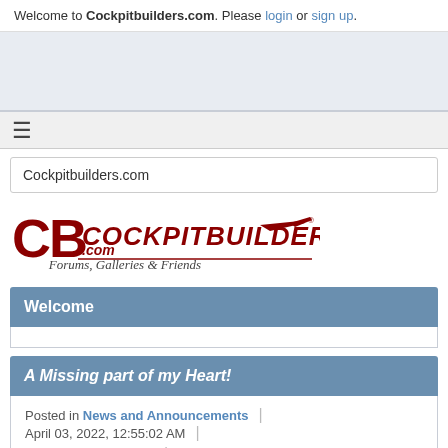Welcome to Cockpitbuilders.com. Please login or sign up.
[Figure (other): Advertisement / banner area (light blue-gray background)]
[Figure (logo): Cockpitbuilders.com logo with airplane silhouette and tagline: Forums, Galleries & Friends]
Welcome
A Missing part of my Heart!
Posted in News and Announcements | April 03, 2022, 12:55:02 AM | Written by Trevor Hale | Views: 2289
Morning Everyone!